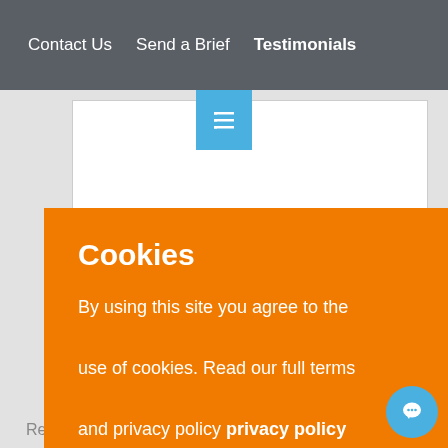Contact Us   Send a Brief   Testimonials
[Figure (screenshot): Blue icon button with list/menu lines icon]
[Figure (screenshot): White textarea form input field with resize handle]
gree to
ne or
s and
on Love
Cookies
By using this site you agree to the use of cookies. Read our full terms and privacy policy privacy policy
Accept
Read our full terms & privacy policy here.